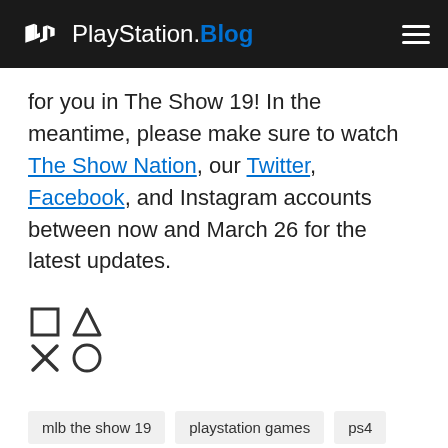PlayStation.Blog
for you in The Show 19! In the meantime, please make sure to watch The Show Nation, our Twitter, Facebook, and Instagram accounts between now and March 26 for the latest updates.
[Figure (illustration): PlayStation controller button symbols: square, triangle, cross (X), circle arranged in a 2x2 grid]
mlb the show 19
playstation games
ps4
san diego studio
Did you like this?
[Figure (illustration): Dark gray heart icon]